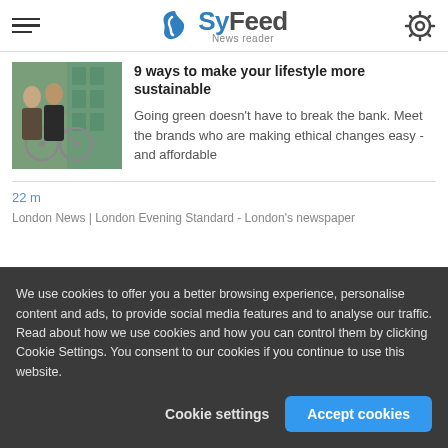SyFeed News reader
9 ways to make your lifestyle more sustainable
[Figure (photo): Two people with a bicycle near a green building]
Going green doesn't have to break the bank. Meet the brands who are making ethical changes easy - and affordable
22 m
London News | London Evening Standard - London's newspaper
We use cookies to offer you a better browsing experience, personalise content and ads, to provide social media features and to analyse our traffic. Read about how we use cookies and how you can control them by clicking Cookie Settings. You consent to our cookies if you continue to use this website.